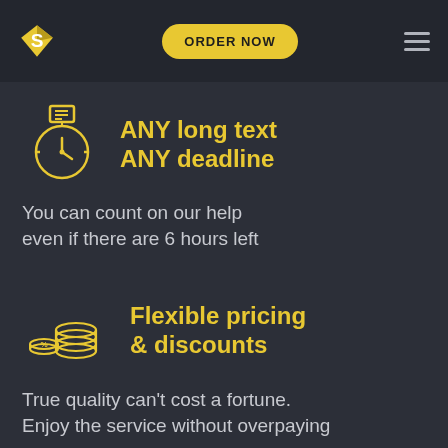S ORDER NOW ≡
[Figure (illustration): Yellow clock/timer icon with paper on top]
ANY long text ANY deadline
You can count on our help even if there are 6 hours left
[Figure (illustration): Yellow stacked coins with percent sign icon]
Flexible pricing & discounts
True quality can't cost a fortune. Enjoy the service without overpaying